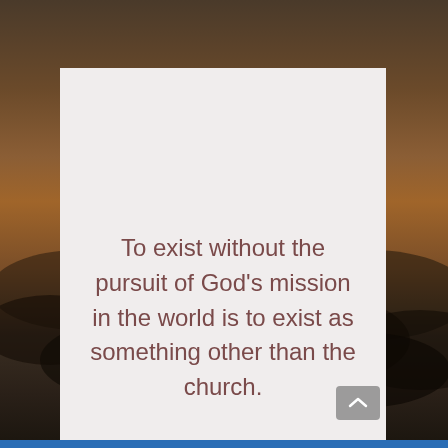[Figure (photo): Dramatic sunset sky background with dark clouds and orange-brown tones, blue bar at bottom]
To exist without the pursuit of God's mission in the world is to exist as something other than the church.
Brain Sanders